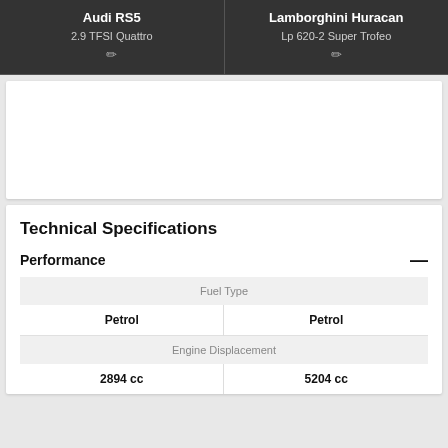Audi RS5
2.9 TFSI Quattro
Lamborghini Huracan
Lp 620-2 Super Trofeo
Technical Specifications
Performance
| Fuel Type |
| --- |
| Petrol | Petrol |
| Engine Displacement |
| 2894 cc | 5204 cc |